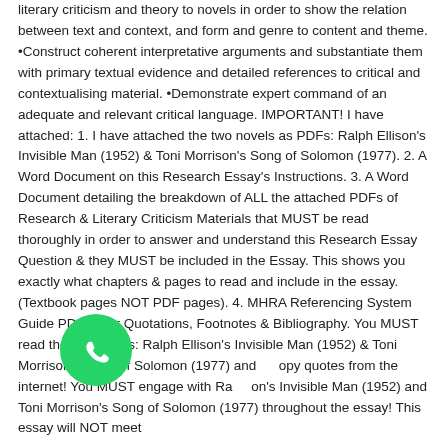literary criticism and theory to novels in order to show the relation between text and context, and form and genre to content and theme. •Construct coherent interpretative arguments and substantiate them with primary textual evidence and detailed references to critical and contextualising material. •Demonstrate expert command of an adequate and relevant critical language. IMPORTANT! I have attached: 1. I have attached the two novels as PDFs: Ralph Ellison's Invisible Man (1952) & Toni Morrison's Song of Solomon (1977). 2. A Word Document on this Research Essay's Instructions. 3. A Word Document detailing the breakdown of ALL the attached PDFs of Research & Literary Criticism Materials that MUST be read thoroughly in order to answer and understand this Research Essay Question & they MUST be included in the Essay. This shows you exactly what chapters & pages to read and include in the essay. (Textbook pages NOT PDF pages). 4. MHRA Referencing System Guide PDF – For Quotations, Footnotes & Bibliography. You MUST read the two novels: Ralph Ellison's Invisible Man (1952) & Toni Morrison's Song of Solomon (1977) and copy quotes from the internet! You MUST engage with Ralph Ellison's Invisible Man (1952) and Toni Morrison's Song of Solomon (1977) throughout the essay! This essay will NOT meet
[Figure (logo): WhatsApp green phone icon (circular green background with white phone handset)]